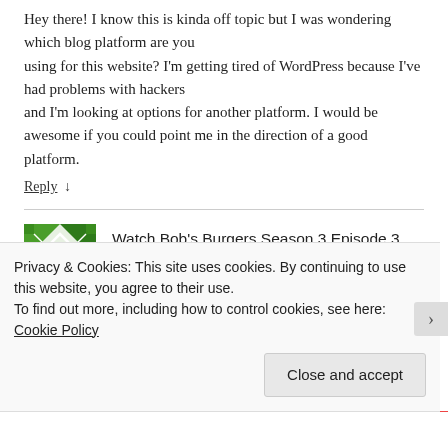Hey there! I know this is kinda off topic but I was wondering which blog platform are you using for this website? I'm getting tired of WordPress because I've had problems with hackers and I'm looking at options for another platform. I would be awesome if you could point me in the direction of a good platform.
Reply ↓
[Figure (illustration): Small square avatar with green and white geometric/diamond pattern]
Watch Bob's Burgers Season 3 Episode 3 Bob Fires the Kids Online Free Stream
Privacy & Cookies: This site uses cookies. By continuing to use this website, you agree to their use.
To find out more, including how to control cookies, see here: Cookie Policy
Close and accept